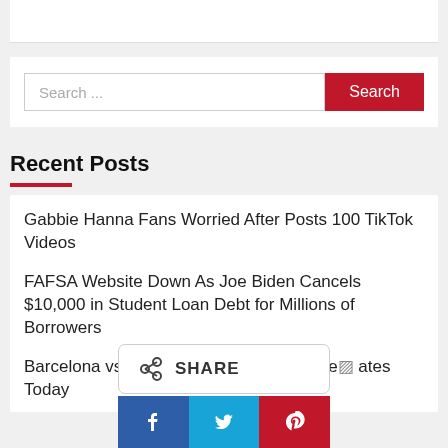[Figure (screenshot): Search bar with text 'Search ...' and a red 'Search' button on the right]
Recent Posts
Gabbie Hanna Fans Worried After Posts 100 TikTok Videos
FAFSA Website Down As Joe Biden Cancels $10,000 in Student Loan Debt for Millions of Borrowers
Barcelona vs Ma... lt; Match Stream, Late... ates Today
[Figure (screenshot): Share overlay widget with Facebook, Twitter, and Pinterest social share buttons]